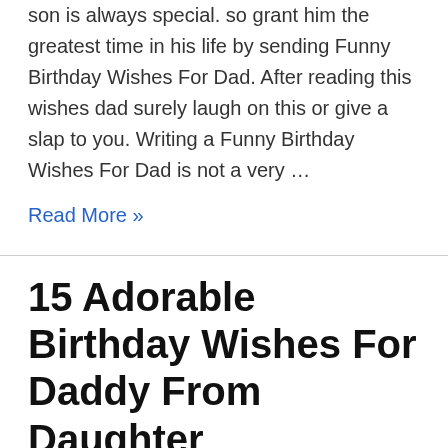son is always special. so grant him the greatest time in his life by sending Funny Birthday Wishes For Dad. After reading this wishes dad surely laugh on this or give a slap to you. Writing a Funny Birthday Wishes For Dad is not a very …
Read More »
15 Adorable Birthday Wishes For Daddy From Daughter
Birthday Images, Birthday Status, Birthday Wishes, Wishes for Father / By Nilesh Chikane
Happy birthday wishes messages for daddy should be cute, inventive, and entertaining. Read Birthday...